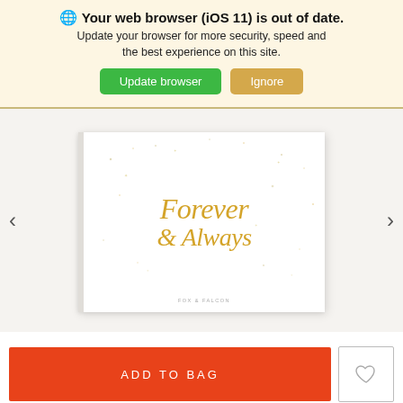🌐 Your web browser (iOS 11) is out of date. Update your browser for more security, speed and the best experience on this site. [Update browser] [Ignore]
[Figure (photo): A white hardcover book titled 'Forever & Always' in gold script lettering with small sparkle decorations, shown against a light beige background with left and right navigation arrows.]
ADD TO BAG